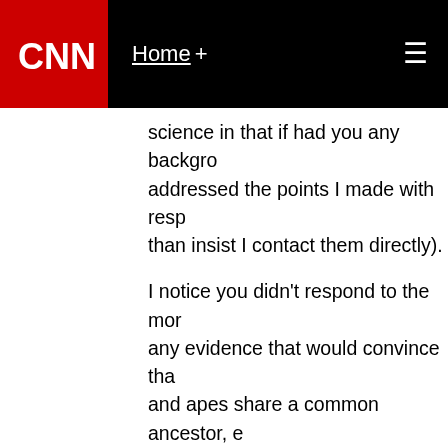CNN | Home +
science in that if had you any background addressed the points I made with respect than insist I contact them directly).
I notice you didn't respond to the more any evidence that would convince that and apes share a common ancestor, e that the God you believe in doesn't ac
November 26, 2013 at 8:58 pm |
redzoa
Creationists claim that the consistency of p to the whim of their deity, and therefore, the apply the validated mechanisms of present past events, because God may have tempo underlying physical laws. As such, creation observational science relating to genetics, speciation and divergence, geology, radiom etc. etc. to investigations of the progressiv